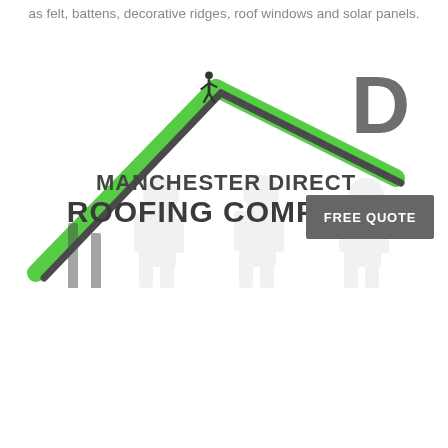as felt, battens, decorative ridges, roof windows and solar panels.
[Figure (logo): Manchester Direct Roofing Company Ltd logo with green roof/house outline, dark text, and a roofer silhouette on top. Background shows faded silhouettes of workers.]
FREE QUOTE